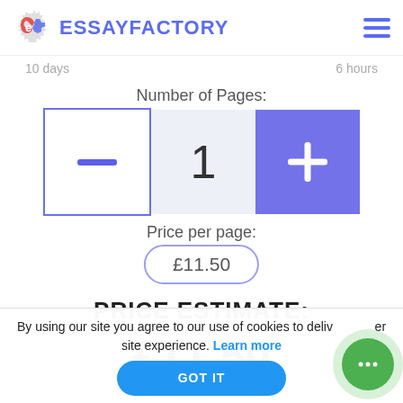ESSAYFACTORY
10 days ... 6 hours
Number of Pages:
[Figure (other): Page counter widget with minus button showing '1' and plus button]
Price per page:
£11.50
PRICE ESTIMATE:
£11.50
By using our site you agree to our use of cookies to deliver a better site experience. Learn more
GOT IT